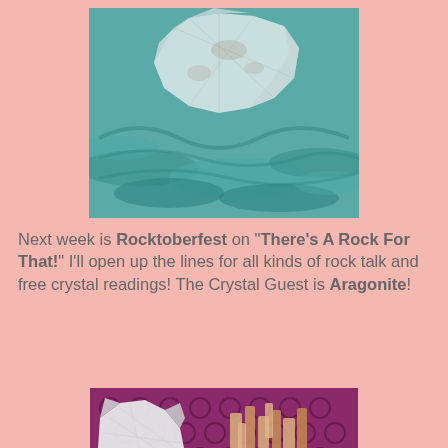[Figure (photo): A rough translucent crystal (likely quartz or aragonite) resting on teal/turquoise yarn or fiber material]
Next week is Rocktoberfest on "There's A Rock For That!"  I'll open up the lines for all kinds of rock talk and free crystal readings!  The Crystal Guest is Aragonite!
[Figure (photo): Two aragonite crystal specimens on a purple lacy cloth/doily — one white fibrous piece and one cluster of tan/orange crystals with a small coin for scale]